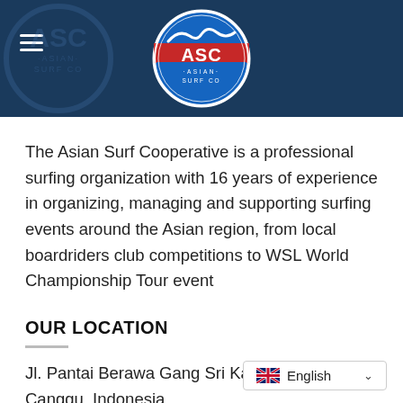[Figure (logo): ASC Asian Surf Cooperative logo centered in dark blue header bar with hamburger menu icon on the left]
The Asian Surf Cooperative is a professional surfing organization with 16 years of experience in organizing, managing and supporting surfing events around the Asian region, from local boardriders club competitions to WSL World Championship Tour event
OUR LOCATION
Jl. Pantai Berawa Gang Sri Kahyangan, 80361 Canggu, Indonesia